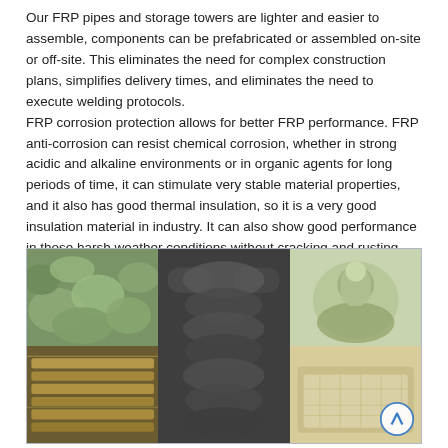Our FRP pipes and storage towers are lighter and easier to assemble, components can be prefabricated or assembled on-site or off-site. This eliminates the need for complex construction plans, simplifies delivery times, and eliminates the need to execute welding protocols. FRP corrosion protection allows for better FRP performance. FRP anti-corrosion can resist chemical corrosion, whether in strong acidic and alkaline environments or in organic agents for long periods of time, it can stimulate very stable material properties, and it also has good thermal insulation, so it is a very good insulation material in industry. It can also show good performance in those harsh weather conditions without cracking and rusting, which permanently ensures the stability of the material.
[Figure (photo): Grid of 5 photos showing FRP pipe fittings and components: green FRP elbow fittings stacked in bulk, rows of dark grey pipe fittings/elbows, a close-up of a light green FRP flange/fitting, stacked FRP structural profiles/bars, and a pale yellow FRP structural trough or channel.]